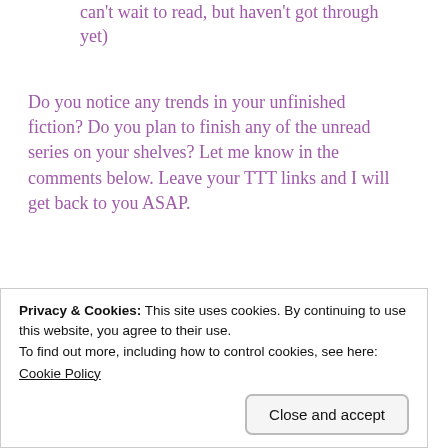can't wait to read, but haven't got through yet)
Do you notice any trends in your unfinished fiction? Do you plan to finish any of the unread series on your shelves? Let me know in the comments below. Leave your TTT links and I will get back to you ASAP.
[Figure (illustration): Decorative swallow/bird illustration in pink/purple line art]
Privacy & Cookies: This site uses cookies. By continuing to use this website, you agree to their use.
To find out more, including how to control cookies, see here:
Cookie Policy
Close and accept